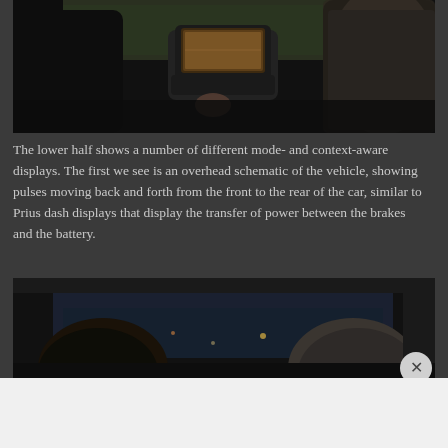[Figure (photo): Interior car scene viewed from back seat showing center console with embedded screen display, fur-coated passenger in foreground and dark headrests]
The lower half shows a number of different mode- and context-aware displays. The first we see is an overhead schematic of the vehicle, showing pulses moving back and forth from the front to the rear of the car, similar to Prius dash displays that display the transfer of power between the brakes and the battery.
[Figure (photo): Interior car scene viewed from back seat showing two passengers looking forward through windshield at night cityscape]
Advertisements
[Figure (screenshot): DuckDuckGo advertisement: 'Search, browse, and email with more privacy. All in One Free App' on orange background with DuckDuckGo duck logo on dark background]